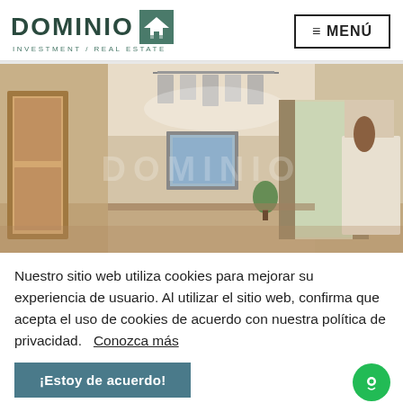[Figure (logo): Dominio Investment / Real Estate logo with green house icon and green bar]
≡ MENÚ
[Figure (photo): Interior room photo showing a bright living/dining area with warm beige walls, a chandelier with horizontal bars, framed artwork on wall, curtained glass door to balcony, plant, and furniture. DOMINIO watermark overlaid in center.]
Nuestro sitio web utiliza cookies para mejorar su experiencia de usuario. Al utilizar el sitio web, confirma que acepta el uso de cookies de acuerdo con nuestra política de privadidad.   Conozca más
¡Estoy de acuerdo!